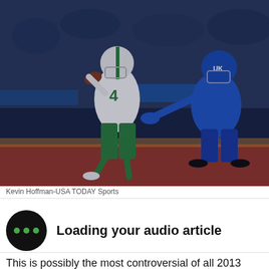[Figure (photo): A football player in white jersey number 4 with green pants scrambles while a defender in blue uniform reaches to tackle him during a night game.]
Kevin Hoffman-USA TODAY Sports
Loading your audio article
This is possibly the most controversial of all 2013 bowl games, and the nation doesn't even know it. Perhaps